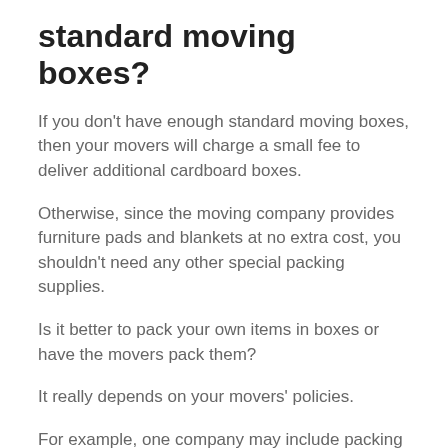standard moving boxes?
If you don't have enough standard moving boxes, then your movers will charge a small fee to deliver additional cardboard boxes.
Otherwise, since the moving company provides furniture pads and blankets at no extra cost, you shouldn't need any other special packing supplies.
Is it better to pack your own items in boxes or have the movers pack them?
It really depends on your movers' policies.
For example, one company may include packing services in their quote but another might charge extra for it.